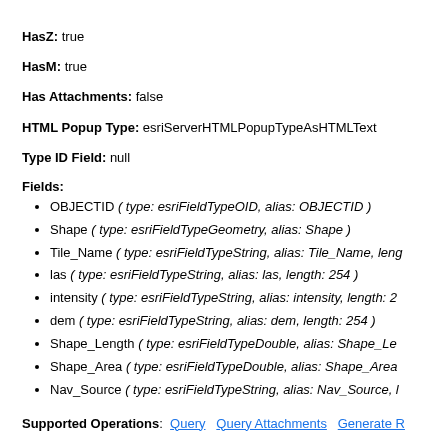HasZ: true
HasM: true
Has Attachments: false
HTML Popup Type: esriServerHTMLPopupTypeAsHTMLText
Type ID Field: null
Fields:
OBJECTID ( type: esriFieldTypeOID, alias: OBJECTID )
Shape ( type: esriFieldTypeGeometry, alias: Shape )
Tile_Name ( type: esriFieldTypeString, alias: Tile_Name, leng...
las ( type: esriFieldTypeString, alias: las, length: 254 )
intensity ( type: esriFieldTypeString, alias: intensity, length: 25...
dem ( type: esriFieldTypeString, alias: dem, length: 254 )
Shape_Length ( type: esriFieldTypeDouble, alias: Shape_Le...
Shape_Area ( type: esriFieldTypeDouble, alias: Shape_Area...
Nav_Source ( type: esriFieldTypeString, alias: Nav_Source, l...
Supported Operations: Query  Query Attachments  Generate R...